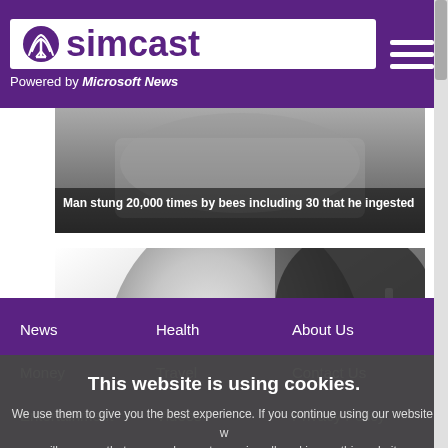simcast — Powered by Microsoft News
[Figure (photo): News article image with caption: Man stung 20,000 times by bees including 30 that he ingested]
Man stung 20,000 times by bees including 30 that he ingested
[Figure (photo): Black and white close-up portrait of a woman with earrings]
This website is using cookies. We use them to give you the best experience. If you continue using our website, we will assume that you are happy to receive all cookies on this website.
Continue
Learn more
News
Health
About Us
Money
Travel
Contact Us
Entertainment
Videos
Privacy Policy